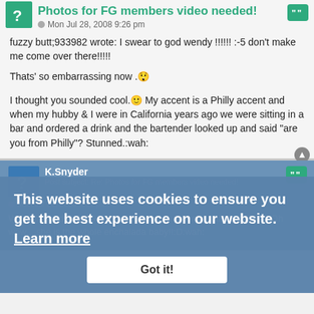Photos for FG members video needed!
Mon Jul 28, 2008 9:26 pm
fuzzy butt;933982 wrote: I swear to god wendy !!!!!! :-5 don't make me come over there!!!!!
Thats' so embarrassing now .😲
I thought you sounded cool.🙃 My accent is a Philly accent and when my hubby & I were in California years ago we were sitting in a bar and ordered a drink and the bartender looked up and said "are you from Philly"? Stunned.:wah:
K.Snyder
Post subject: Re: Photos for FG members video needed!
Mon Jul 28, 2008 9:31 pm
WonderWendy3;933965 wrote: Have you ever heard her talk??? Oh wow....she is the whole enchalada baby!!:D:wah:
This website uses cookies to ensure you get the best experience on our website. Learn more
Got it!